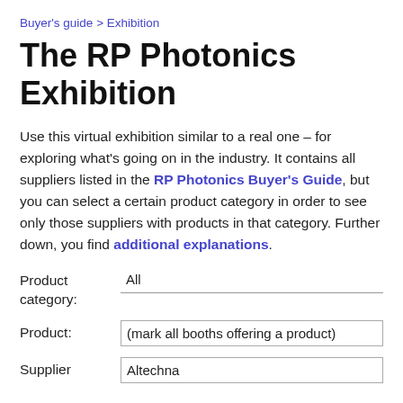Buyer's guide > Exhibition
The RP Photonics Exhibition
Use this virtual exhibition similar to a real one – for exploring what's going on in the industry. It contains all suppliers listed in the RP Photonics Buyer's Guide, but you can select a certain product category in order to see only those suppliers with products in that category. Further down, you find additional explanations.
Product category: All
Product: (mark all booths offering a product)
Supplier: Altechna